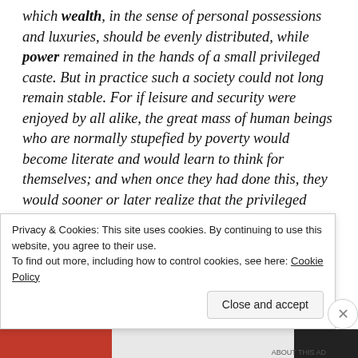which wealth, in the sense of personal possessions and luxuries, should be evenly distributed, while power remained in the hands of a small privileged caste. But in practice such a society could not long remain stable. For if leisure and security were enjoyed by all alike, the great mass of human beings who are normally stupefied by poverty would become literate and would learn to think for themselves; and when once they had done this, they would sooner or later realize that the privileged minority had no function, and they
Privacy & Cookies: This site uses cookies. By continuing to use this website, you agree to their use.
To find out more, including how to control cookies, see here: Cookie Policy
Close and accept